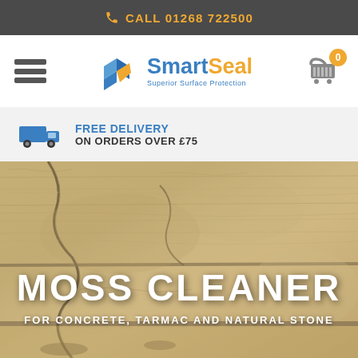CALL 01268 722500
[Figure (logo): SmartSeal logo with blue and orange geometric shapes and text 'SmartSeal Superior Surface Protection']
FREE DELIVERY ON ORDERS OVER £75
[Figure (photo): Close-up photograph of cracked natural stone/paving slabs with sandy/beige colour]
MOSS CLEANER
FOR CONCRETE, TARMAC AND NATURAL STONE